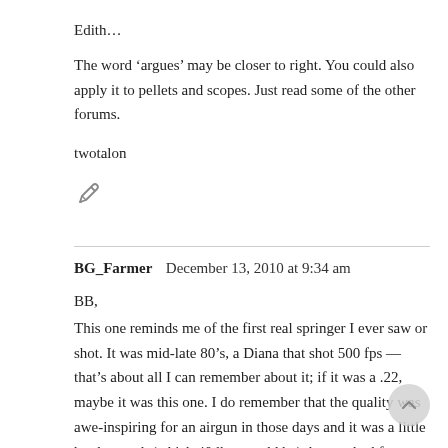Edith…
The word 'argues' may be closer to right. You could also apply it to pellets and scopes. Just read some of the other forums.
twotalon
[Figure (illustration): Pencil/edit icon]
BG_Farmer   December 13, 2010 at 9:34 am
BB,
This one reminds me of the first real springer I ever saw or shot. It was mid-late 80's, a Diana that shot 500 fps — that's about all I can remember about it; if it was a .22, maybe it was this one. I do remember that the quality was awe-inspiring for an airgun in those days and it was a little hard to cock (which 40 lbs. would be), but we had few references for air rifles of this type back then.